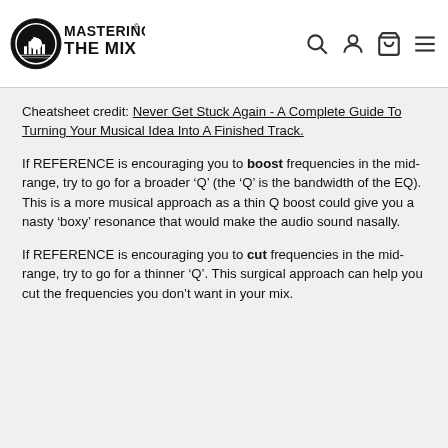Mastering The Mix [logo with nav icons: search, account, cart, menu]
Cheatsheet credit: Never Get Stuck Again - A Complete Guide To Turning Your Musical Idea Into A Finished Track.
If REFERENCE is encouraging you to boost frequencies in the mid-range, try to go for a broader ‘Q’ (the ‘Q’ is the bandwidth of the EQ). This is a more musical approach as a thin Q boost could give you a nasty ‘boxy’ resonance that would make the audio sound nasally.
If REFERENCE is encouraging you to cut frequencies in the mid-range, try to go for a thinner ‘Q’. This surgical approach can help you cut the frequencies you don’t want in your mix.